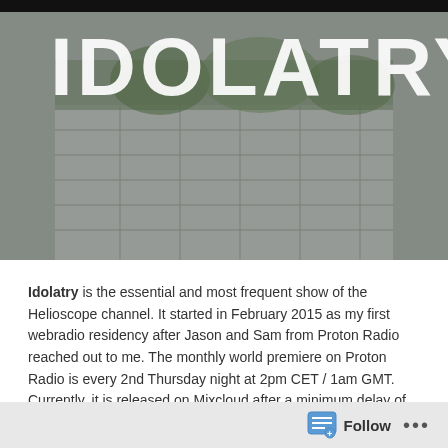[Figure (photo): Large header image with IDOLATRY text overlaid on a building/outdoor scene with trees visible]
Idolatry is the essential and most frequent show of the Helioscope channel. It started in February 2015 as my first webradio residency after Jason and Sam from Proton Radio reached out to me. The monthly world premiere on Proton Radio is every 2nd Thursday night at 2pm CET / 1am GMT. Currently, it is released on Mixcloud after a minimum delay of two weeks after the premiere, usually in the last week of each month.
Official show description:
German tastemaker Nils Feldhus, whose Helioscope music hub is regarded as a universe for well-mixed sets from nearly
Follow ...